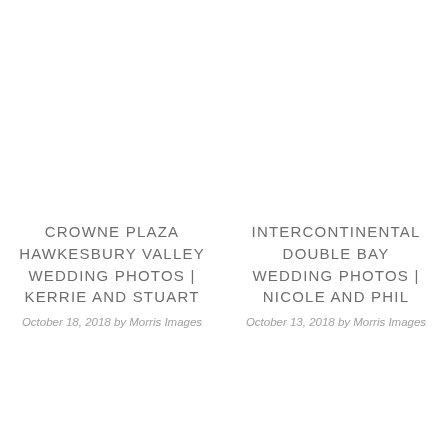CROWNE PLAZA HAWKESBURY VALLEY WEDDING PHOTOS | KERRIE AND STUART
October 18, 2018 by Morris Images
INTERCONTINENTAL DOUBLE BAY WEDDING PHOTOS | NICOLE AND PHIL
October 13, 2018 by Morris Images